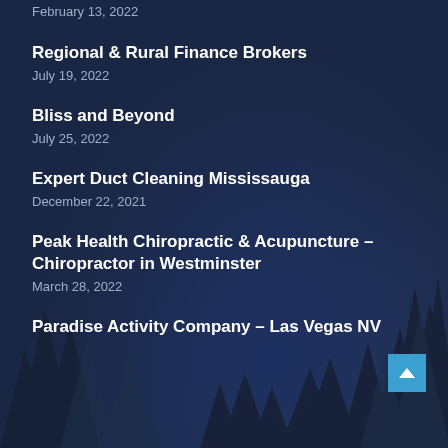February 13, 2022
Regional & Rural Finance Brokers
July 19, 2022
Bliss and Beyond
July 25, 2022
Expert Duct Cleaning Mississauga
December 22, 2021
Peak Health Chiropractic & Acupuncture – Chiropractor in Westminster
March 28, 2022
Paradise Activity Company – Las Vegas NV